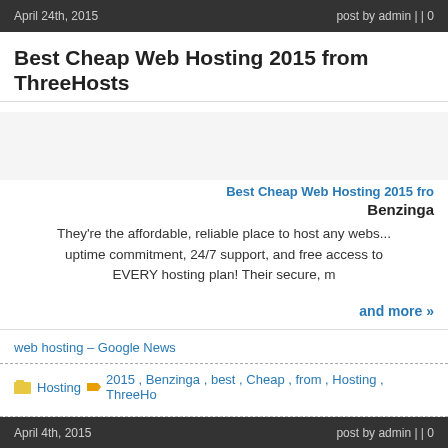April 24th, 2015    post by admin | | 0
Best Cheap Web Hosting 2015 from ThreeHosts
Best Cheap Web Hosting 2015 fro
Benzinga
They're the affordable, reliable place to host any webs... uptime commitment, 24/7 support, and free access to EVERY hosting plan! Their secure, m
and more »
web hosting – Google News
Hosting   2015 , Benzinga , best , Cheap , from , Hosting , ThreeHo
April 4th, 2015    post by admin | | 0
The Best Managed WordPress Web Hosting Ser